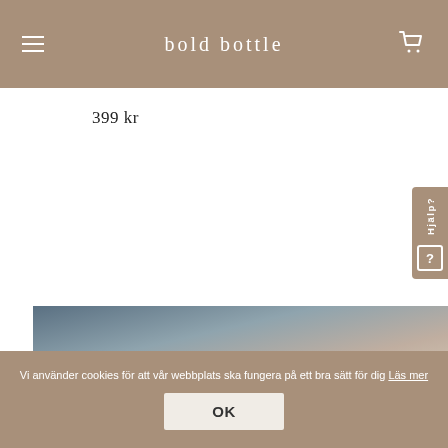bold bottle
399 kr
[Figure (screenshot): Help/Hjälp? tab button on right side of page]
[Figure (photo): Gradient background image showing blue-grey to warm beige tones]
Vi använder cookies för att vår webbplats ska fungera på ett bra sätt för dig Läs mer
OK